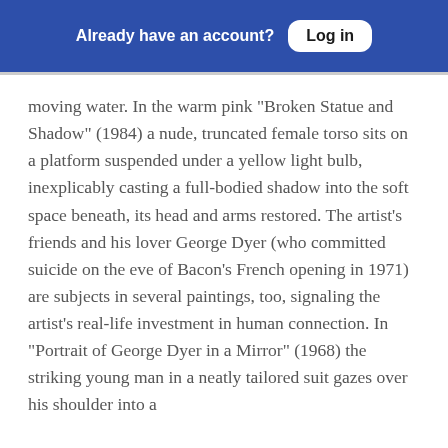Already have an account? Log in
moving water. In the warm pink “Broken Statue and Shadow” (1984) a nude, truncated female torso sits on a platform suspended under a yellow light bulb, inexplicably casting a full-bodied shadow into the soft space beneath, its head and arms restored. The artist’s friends and his lover George Dyer (who committed suicide on the eve of Bacon’s French opening in 1971) are subjects in several paintings, too, signaling the artist’s real-life investment in human connection. In “Portrait of George Dyer in a Mirror” (1968) the striking young man in a neatly tailored suit gazes over his shoulder into a